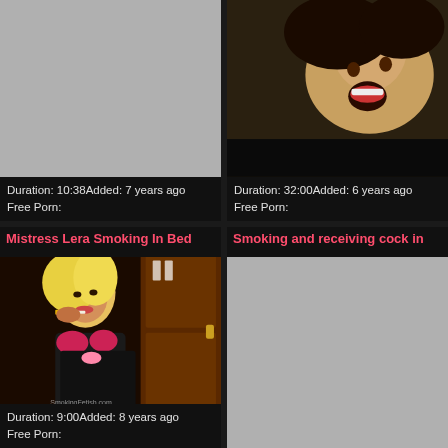[Figure (screenshot): Video thumbnail placeholder (gray) - top left card, no title shown]
Duration: 10:38Added: 7 years ago
Free Porn:
[Figure (screenshot): Video thumbnail of woman - top right card, no title shown]
Duration: 32:00Added: 6 years ago
Free Porn:
Mistress Lera Smoking In Bed
[Figure (screenshot): Video thumbnail of blonde woman in maid outfit smoking - bottom left card]
Duration: 9:00Added: 8 years ago
Free Porn:
Smoking and receiving cock in
[Figure (screenshot): Video thumbnail placeholder (gray) - bottom right card]